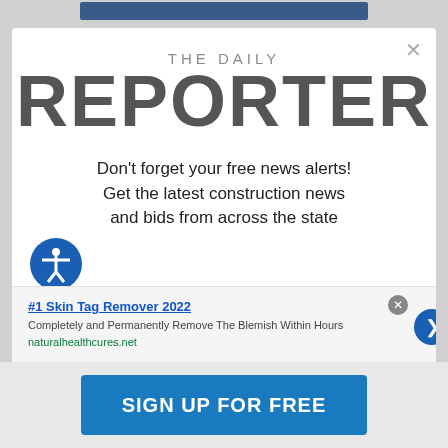[Figure (logo): The Daily Reporter newspaper logo with 'THE DAILY' in gray and 'REPORTER' in large dark gray bold text]
Don't forget your free news alerts! Get the latest construction news and bids from across the state
[Figure (other): Advertisement: #1 Skin Tag Remover 2022 - Completely and Permanently Remove The Blemish Within Hours - naturalhealthcures.net]
SIGN UP FOR FREE